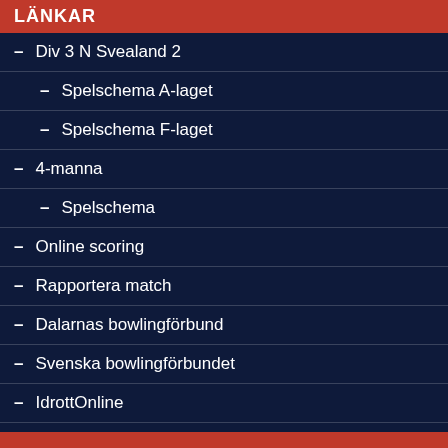LÄNKAR
— Div 3 N Svealand 2
— Spelschema A-laget
— Spelschema F-laget
— 4-manna
— Spelschema
— Online scoring
— Rapportera match
— Dalarnas bowlingförbund
— Svenska bowlingförbundet
— IdrottOnline
— BK Milan på Facebook
— Lanetalk